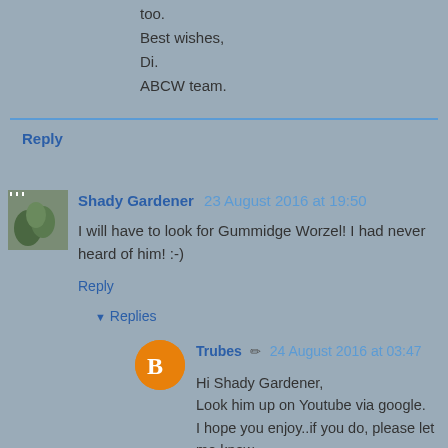too.
Best wishes,
Di.
ABCW team.
Reply
Shady Gardener 23 August 2016 at 19:50
I will have to look for Gummidge Worzel! I had never heard of him! :-)
Reply
▼ Replies
Trubes 24 August 2016 at 03:47
Hi Shady Gardener,
Look him up on Youtube via google.
I hope you enjoy..if you do, please let me know,
Thanks,
Di.